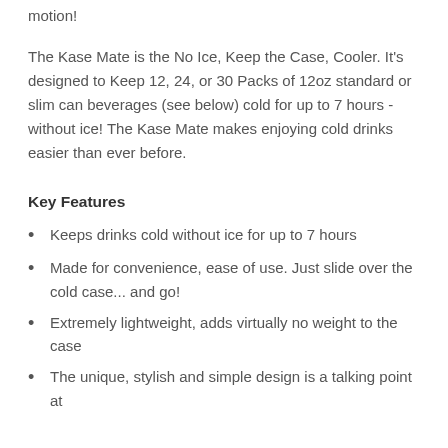motion!
The Kase Mate is the No Ice, Keep the Case, Cooler. It's designed to Keep 12, 24, or 30 Packs of 12oz standard or slim can beverages (see below) cold for up to 7 hours - without ice! The Kase Mate makes enjoying cold drinks easier than ever before.
Key Features
Keeps drinks cold without ice for up to 7 hours
Made for convenience, ease of use. Just slide over the cold case... and go!
Extremely lightweight, adds virtually no weight to the case
The unique, stylish and simple design is a talking point at